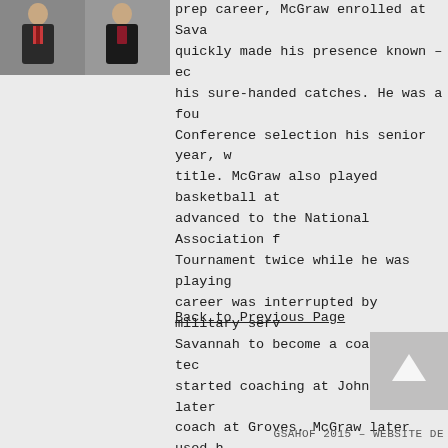[Figure (photo): Photo of McGraw, a man in formal attire with a tie, cropped at top of page]
prep career, McGraw enrolled at Sava quickly made his presence known – ec his sure-handed catches. He was a fou Conference selection his senior year, w title. McGraw also played basketball at advanced to the National Association f Tournament twice while he was playing career was interrupted by military serv Savannah to become a coach and tec started coaching at Johnson, and later coach at Groves. McGraw later used h director of adult and continuing educa County public schools.
Back to Previous Page
[Figure (other): Gray back-to-top arrow button in bottom right corner]
GSAHOF 2015 – WEBSITE DE